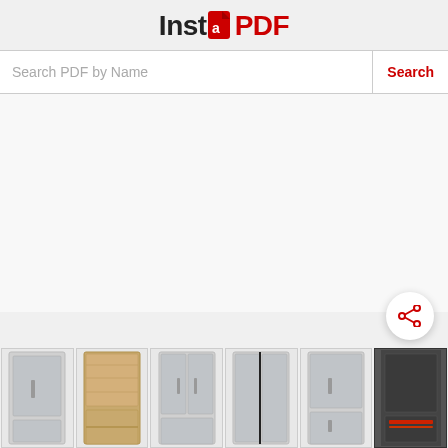[Figure (logo): InstaPDF logo with red document icon between 'Inst' and 'PDF' text]
Search PDF by Name
[Figure (screenshot): Bottom thumbnail strip showing six refrigerator/appliance product images in stainless steel and wood finishes, with a red share icon button overlay]